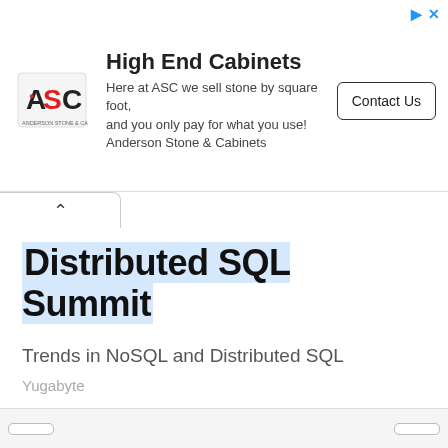[Figure (screenshot): Advertisement banner for ASC (Anderson Stone & Cabinets) with logo, headline 'High End Cabinets', body text, and Contact Us button]
Distributed SQL Summit
Trends in NoSQL and Distributed SQL
Yugabyte
Open